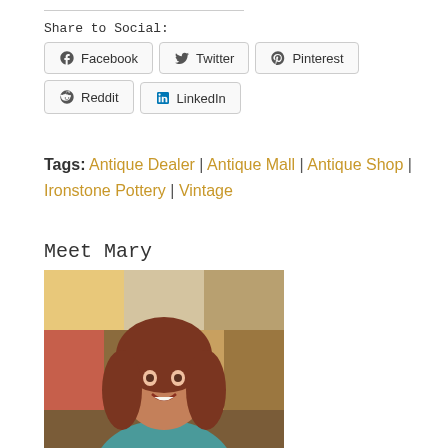Share to Social:
Facebook | Twitter | Pinterest | Reddit | LinkedIn
Tags: Antique Dealer | Antique Mall | Antique Shop | Ironstone Pottery | Vintage
Meet Mary
[Figure (photo): Portrait photo of Mary, a woman with auburn hair, smiling, against a colorful abstract background]